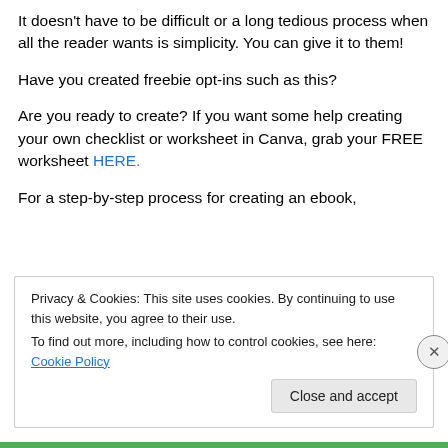It doesn't have to be difficult or a long tedious process when all the reader wants is simplicity. You can give it to them!
Have you created freebie opt-ins such as this?
Are you ready to create? If you want some help creating your own checklist or worksheet in Canva, grab your FREE worksheet HERE.
For a step-by-step process for creating an ebook,
Privacy & Cookies: This site uses cookies. By continuing to use this website, you agree to their use.
To find out more, including how to control cookies, see here: Cookie Policy
Close and accept